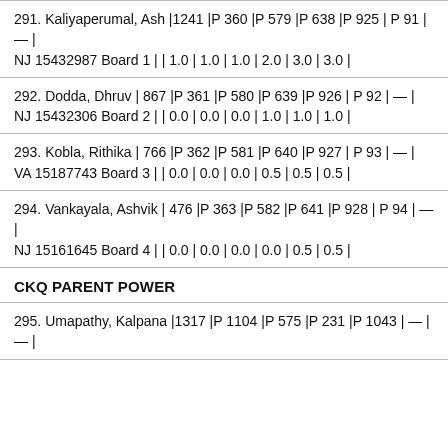291. Kaliyaperumal, Ash |1241 |P 360 |P 579 |P 638 |P 925 | P 91 | — |
NJ 15432987 Board 1 | | 1.0 | 1.0 | 1.0 | 2.0 | 3.0 | 3.0 |
292. Dodda, Dhruv | 867 |P 361 |P 580 |P 639 |P 926 | P 92 | — |
NJ 15432306 Board 2 | | 0.0 | 0.0 | 0.0 | 1.0 | 1.0 | 1.0 |
293. Kobla, Rithika | 766 |P 362 |P 581 |P 640 |P 927 | P 93 | — |
VA 15187743 Board 3 | | 0.0 | 0.0 | 0.0 | 0.5 | 0.5 | 0.5 |
294. Vankayala, Ashvik | 476 |P 363 |P 582 |P 641 |P 928 | P 94 | — |
NJ 15161645 Board 4 | | 0.0 | 0.0 | 0.0 | 0.0 | 0.5 | 0.5 |
CKQ PARENT POWER
295. Umapathy, Kalpana |1317 |P 1104 |P 575 |P 231 |P 1043 | — | — |